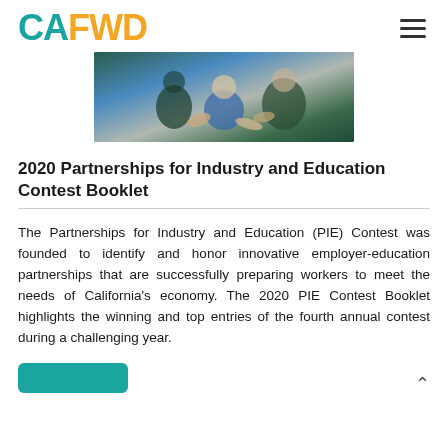CAFWD
[Figure (photo): Close-up photo of people in medical/professional attire gesturing with hands, group discussion scene]
2020 Partnerships for Industry and Education Contest Booklet
The Partnerships for Industry and Education (PIE) Contest was founded to identify and honor innovative employer-education partnerships that are successfully preparing workers to meet the needs of California's economy. The 2020 PIE Contest Booklet highlights the winning and top entries of the fourth annual contest during a challenging year.